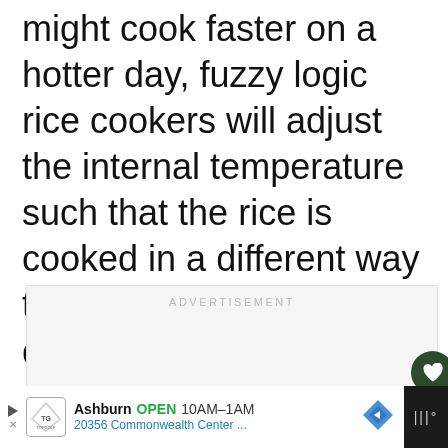might cook faster on a hotter day, fuzzy logic rice cookers will adjust the internal temperature such that the rice is cooked in a different way than it would on a cold day.
[Figure (other): Advertisement placeholder box with label 'ADVERTISEMENT' in light gray uppercase text, on a light gray background. Contains a heart/like button (dark green circle), a count of 1, and a share button.]
[Figure (other): Bottom banner advertisement for Topgolf: Ashburn location showing OPEN 10AM-1AM, 20356 Commonwealth Center... with navigation diamond icon. Dark background bar on right side with menu icon.]